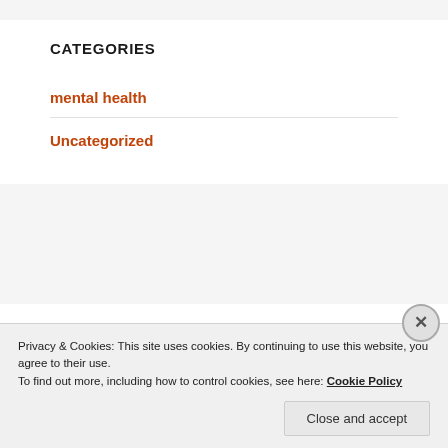CATEGORIES
mental health
Uncategorized
META
Privacy & Cookies: This site uses cookies. By continuing to use this website, you agree to their use.
To find out more, including how to control cookies, see here: Cookie Policy
Close and accept